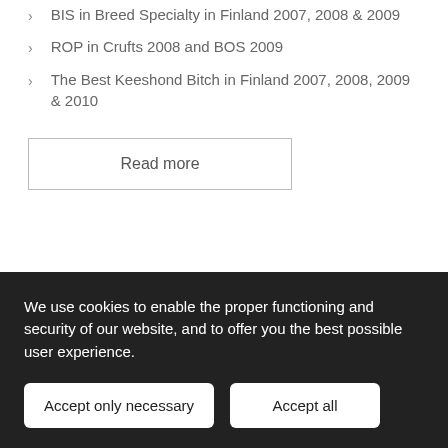BIS in Breed Specialty in Finland 2007, 2008 & 2009
ROP in Crufts 2008 and BOS 2009
The Best Keeshond Bitch in Finland 2007, 2008, 2009 & 2010
Read more
We use cookies to enable the proper functioning and security of our website, and to offer you the best possible user experience.
Accept only necessary
Accept all